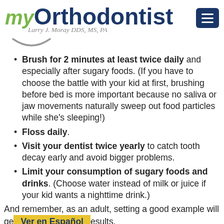myOrthodontist — Larry J. Moray DDS, MS, PA
Brush for 2 minutes at least twice daily and especially after sugary foods. (If you have to choose the battle with your kid at first, brushing before bed is more important because no saliva or jaw movements naturally sweep out food particles while she's sleeping!)
Floss daily.
Visit your dentist twice yearly to catch tooth decay early and avoid bigger problems.
Limit your consumption of sugary foods and drinks. (Choose water instead of milk or juice if your kid wants a nighttime drink.)
And remember, as an adult, setting a good example will ge… results.
Ver en Español